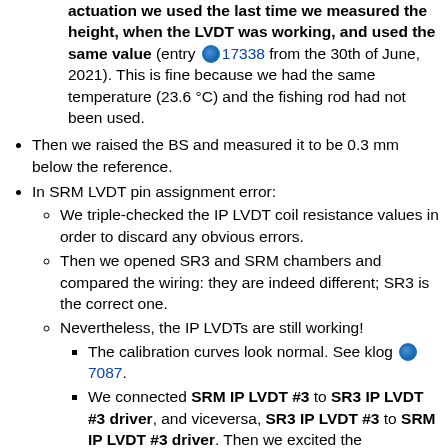actuation we used the last time we measured the height, when the LVDT was working, and used the same value (entry 17338 from the 30th of June, 2021). This is fine because we had the same temperature (23.6 °C) and the fishing rod had not been used.
Then we raised the BS and measured it to be 0.3 mm below the reference.
In SRM LVDT pin assignment error:
We triple-checked the IP LVDT coil resistance values in order to discard any obvious errors.
Then we opened SR3 and SRM chambers and compared the wiring: they are indeed different; SR3 is the correct one.
Nevertheless, the IP LVDTs are still working!
The calibration curves look normal. See klog 7087.
We connected SRM IP LVDT #3 to SR3 IP LVDT #3 driver, and viceversa, SR3 IP LVDT #3 to SRM IP LVDT #3 driver. Then we excited the suspensions slightly and inspected the behaviour of the six LVDTs in an Ndscope screen.